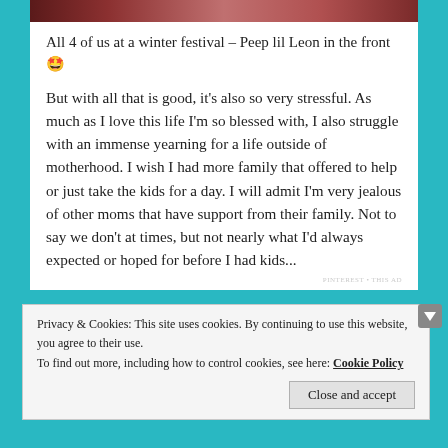[Figure (photo): Top strip showing a photo of people at a winter festival, partially cropped]
All 4 of us at a winter festival – Peep lil Leon in the front 🤩
But with all that is good, it's also so very stressful. As much as I love this life I'm so blessed with, I also struggle with an immense yearning for a life outside of motherhood. I wish I had more family that offered to help or just take the kids for a day. I will admit I'm very jealous of other moms that have support from their family. Not to say we don't at times, but not nearly what I'd always expected or hoped for before I had kids...
Privacy & Cookies: This site uses cookies. By continuing to use this website, you agree to their use.
To find out more, including how to control cookies, see here: Cookie Policy